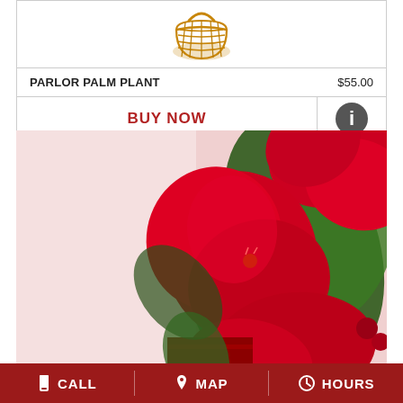[Figure (illustration): Woven wicker/rattan basket shown from above, golden brown color]
PARLOR PALM PLANT    $55.00
BUY NOW
[Figure (photo): Close-up photo of bright red flowers (impatiens) with green leaves and brown wicker basket handle, on a pink and white background]
CALL   MAP   HOURS